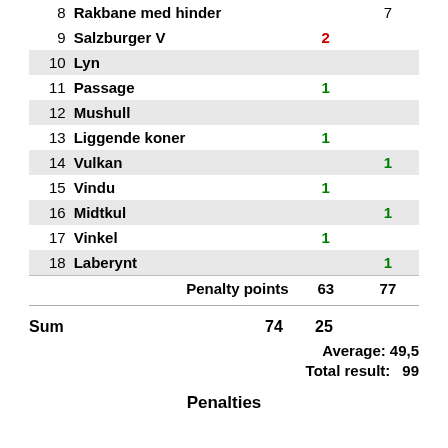| # | Name | Col1 | Col2 |
| --- | --- | --- | --- |
| 8 | Rakbane med hinder |  | 7 |
| 9 | Salzburger V | 2 |  |
| 10 | Lyn |  |  |
| 11 | Passage | 1 |  |
| 12 | Mushull |  |  |
| 13 | Liggende koner | 1 |  |
| 14 | Vulkan |  | 1 |
| 15 | Vindu | 1 |  |
| 16 | Midtkul |  | 1 |
| 17 | Vinkel | 1 |  |
| 18 | Laberynt |  | 1 |
|  | Penalty points | 63 | 77 |
Sum   74   25
Average: 49,5
Total result: 99
Penalties